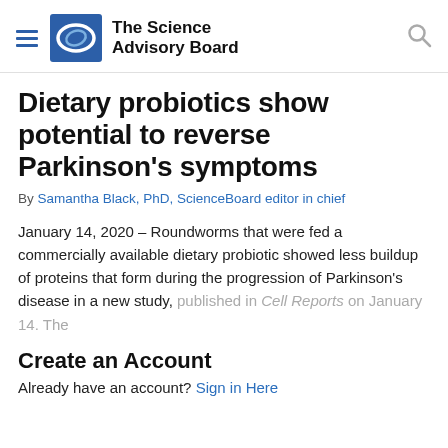The Science Advisory Board
Dietary probiotics show potential to reverse Parkinson's symptoms
By Samantha Black, PhD, ScienceBoard editor in chief
January 14, 2020 – Roundworms that were fed a commercially available dietary probiotic showed less buildup of proteins that form during the progression of Parkinson's disease in a new study, published in Cell Reports on January 14. The
Create an Account
Already have an account? Sign in Here